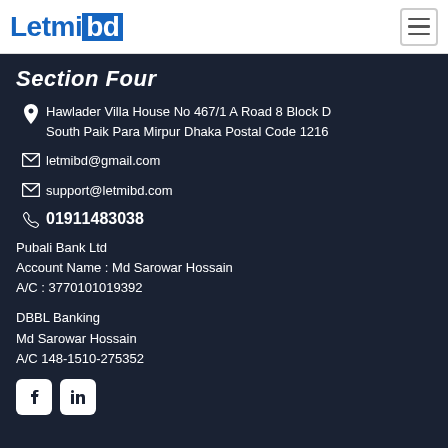Letmibd
Section Four
Hawlader Villa House No 467/1 A Road 8 Block D South Paik Para Mirpur Dhaka Postal Code 1216
letmibd@gmail.com
support@letmibd.com
01911483038
Pubali Bank Ltd
Account Name : Md Sarowar Hossain
A/C : 3770101019392
DBBL Banking
Md Sarowar Hossain
A/C 148-1510-275352
[Figure (logo): Facebook and LinkedIn social media icons]